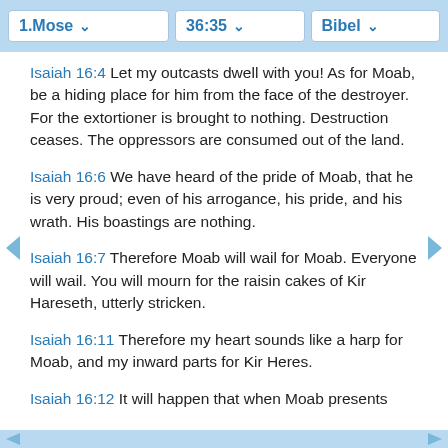1.Mose | 36:35 | Bibel
Isaiah 16:4 Let my outcasts dwell with you! As for Moab, be a hiding place for him from the face of the destroyer. For the extortioner is brought to nothing. Destruction ceases. The oppressors are consumed out of the land.
Isaiah 16:6 We have heard of the pride of Moab, that he is very proud; even of his arrogance, his pride, and his wrath. His boastings are nothing.
Isaiah 16:7 Therefore Moab will wail for Moab. Everyone will wail. You will mourn for the raisin cakes of Kir Hareseth, utterly stricken.
Isaiah 16:11 Therefore my heart sounds like a harp for Moab, and my inward parts for Kir Heres.
Isaiah 16:12 It will happen that when Moab presents